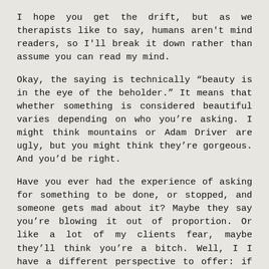I hope you get the drift, but as we therapists like to say, humans aren't mind readers, so I'll break it down rather than assume you can read my mind.
Okay, the saying is technically “beauty is in the eye of the beholder.” It means that whether something is considered beautiful varies depending on who you’re asking. I might think mountains or Adam Driver are ugly, but you might think they’re gorgeous. And you’d be right.
Have you ever had the experience of asking for something to be done, or stopped, and someone gets mad about it? Maybe they say you’re blowing it out of proportion. Or like a lot of my clients fear, maybe they’ll think you’re a bitch. Well, I I have a different perspective to offer: if setting a boundary makes you a “bitch,”